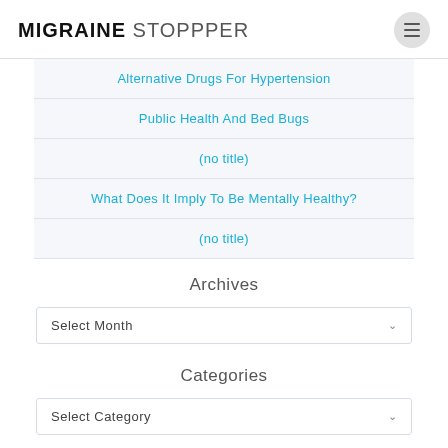MIGRAINE STOPPPER
Alternative Drugs For Hypertension
Public Health And Bed Bugs
(no title)
What Does It Imply To Be Mentally Healthy?
(no title)
Archives
Select Month
Categories
Select Category